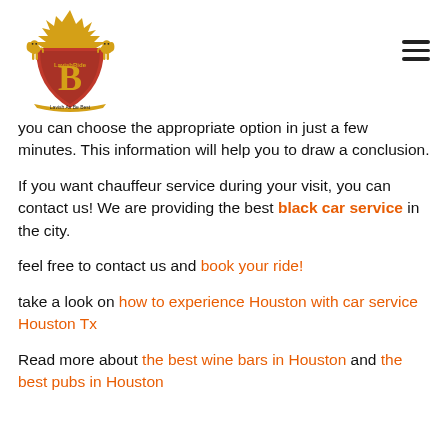[Figure (logo): LavishRide logo: red heraldic shield with golden letter B, two golden lions, crown on top, gold ribbon banner with text 'Lavish As Be Best']
you can choose the appropriate option in just a few minutes. This information will help you to draw a conclusion.
If you want chauffeur service during your visit, you can contact us! We are providing the best black car service in the city.
feel free to contact us and book your ride!
take a look on how to experience Houston with car service Houston Tx
Read more about the best wine bars in Houston and the best pubs in Houston